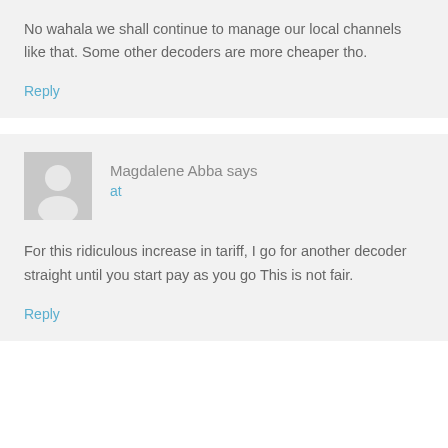No wahala we shall continue to manage our local channels like that. Some other decoders are more cheaper tho.
Reply
Magdalene Abba says
at
For this ridiculous increase in tariff, I go for another decoder straight until you start pay as you go This is not fair.
Reply